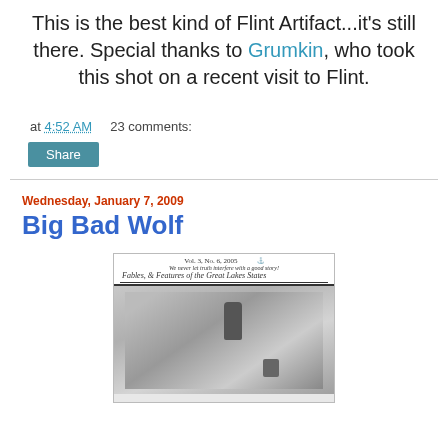This is the best kind of Flint Artifact...it's still there. Special thanks to Grumkin, who took this shot on a recent visit to Flint.
at 4:52 AM   23 comments:
Share
Wednesday, January 7, 2009
Big Bad Wolf
[Figure (photo): Cover of a publication: Vol. 3, No. 6, 2005, motto 'We never let truth interfere with a good story!', Fables, & Features of the Great Lakes States, with a historical black and white photograph below the header.]